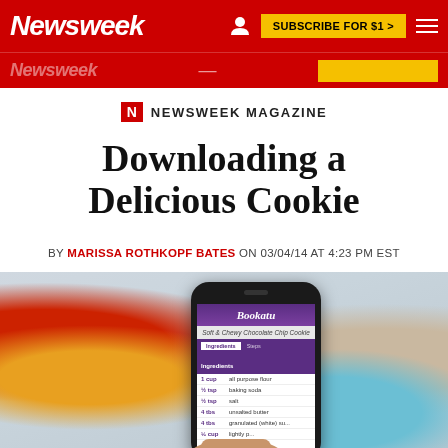Newsweek | SUBSCRIBE FOR $1 >
Downloading a Delicious Cookie
BY MARISSA ROTHKOPF BATES ON 03/04/14 AT 4:23 PM EST
[Figure (photo): A hand holding a smartphone displaying the Bookatu recipe app showing ingredients for Soft & Chewy Chocolate Chip Cookies, with colorful baking items blurred in the background including red and yellow bowls and a teal item.]